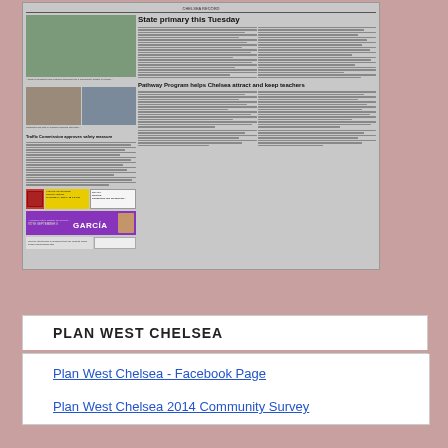[Figure (screenshot): Newspaper front page thumbnail showing articles: 'State primary this Tuesday', 'Pathway Program helps Chelsea attract and keep teachers', 'Traffic Commission approves safety measure', with photos, advertisements including a Garcia political ad and community website link]
PLAN WEST CHELSEA
Plan West Chelsea - Facebook Page
Plan West Chelsea 2014 Community Survey